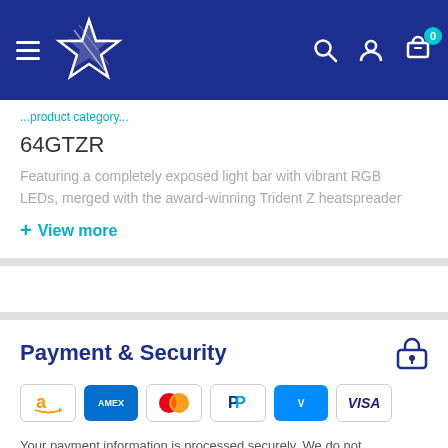[Figure (screenshot): Blue navigation bar with hamburger menu, star logo, search icon, user icon, and cart icon with badge showing 0]
64GTZR
Featuring a completely exposed light bar with vibrant RGB LEDs, merged with the award-winning Trident Z heatspreader...
+ View more
Payment & Security
[Figure (other): Payment method icons: Amazon, American Express, Mastercard, PayPal, Venmo, Visa]
Your payment information is processed securely. We do not